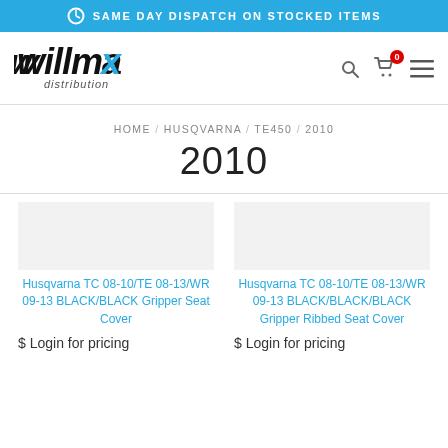SAME DAY DISPATCH ON STOCKED ITEMS
[Figure (logo): Willmax Distribution logo in black and blue]
HOME / HUSQVARNA / TE450 / 2010
2010
Husqvarna TC 08-10/TE 08-13/WR 09-13 BLACK/BLACK Gripper Seat Cover
$ Login for pricing
Husqvarna TC 08-10/TE 08-13/WR 09-13 BLACK/BLACK/BLACK Gripper Ribbed Seat Cover
$ Login for pricing